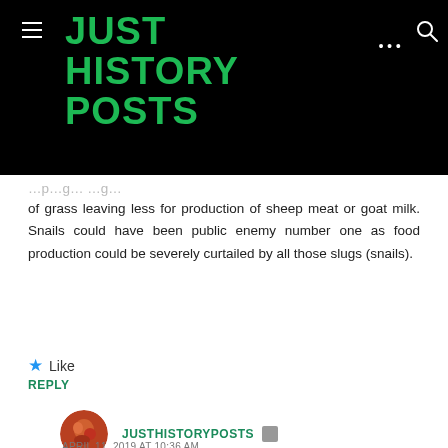JUST HISTORY POSTS
of grass leaving less for production of sheep meat or goat milk. Snails could have been public enemy number one as food production could be severely curtailed by all those slugs (snails).
Like
REPLY
JUSTHISTORYPOSTS
APRIL 11, 2019 AT 10:36 AM